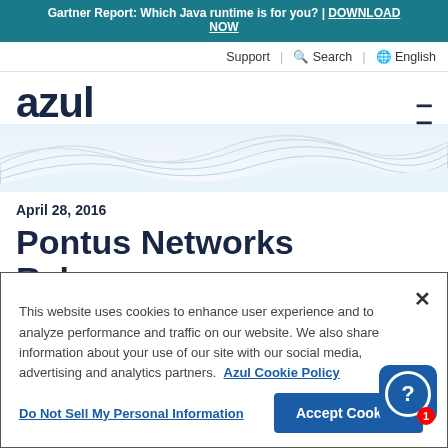Gartner Report: Which Java runtime is for you? | DOWNLOAD NOW
Support | Search | English
[Figure (logo): Azul logo with dark navy text and hamburger menu icon]
[Figure (illustration): Wave decorative background graphic in light blue]
April 28, 2016
Pontus Networks Releases
This website uses cookies to enhance user experience and to analyze performance and traffic on our website. We also share information about your use of our site with our social media, advertising and analytics partners. Azul Cookie Policy
Do Not Sell My Personal Information | Accept Cookies